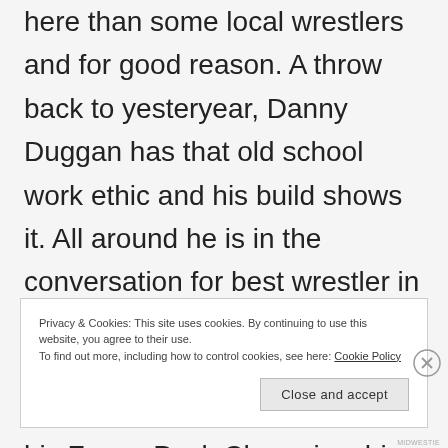here than some local wrestlers and for good reason. A throw back to yesteryear, Danny Duggan has that old school work ethic and his build shows it. All around he is in the conversation for best wrestler in the region. He also runs his own successful promotion in CWE.” And that doesn’t even mention his Fanny Pack Championship.
Privacy & Cookies: This site uses cookies. By continuing to use this website, you agree to their use.
To find out more, including how to control cookies, see here: Cookie Policy